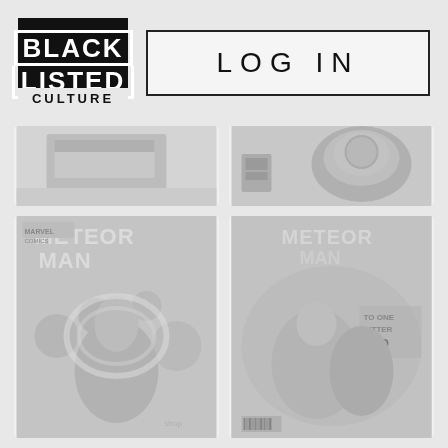[Figure (logo): Black Listed Culture logo — black square with WHITE text 'BLACK' and 'LISTED' in bold bordered boxes, 'CULTURE' below in black on light background]
LOG IN
[Figure (photo): Top-left comic cover thumbnail, partially cropped, light gray]
[Figure (photo): Top-right comic cover thumbnail, partially cropped, showing helmeted figure, light gray]
[Figure (photo): Bottom-left: Meteor Man Marvel Comics cover, grayscale, hero with glowing aura fighting skulls and enemies]
[Figure (photo): Bottom-right: Meteor Man comic cover, grayscale, text 'TO ONE BITTER END', hero fighting]